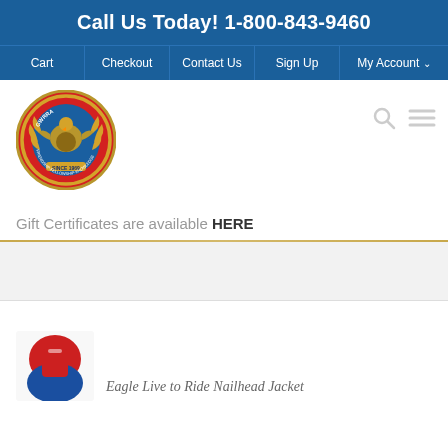Call Us Today! 1-800-843-9460
Cart | Checkout | Contact Us | Sign Up | My Account
[Figure (logo): GWRRA circular logo with eagle emblem, red and gold colors]
Gift Certificates are available HERE
[Figure (photo): Product thumbnail showing Eagle Live to Ride Nailhead Jacket in red and blue]
Eagle Live to Ride Nailhead Jacket